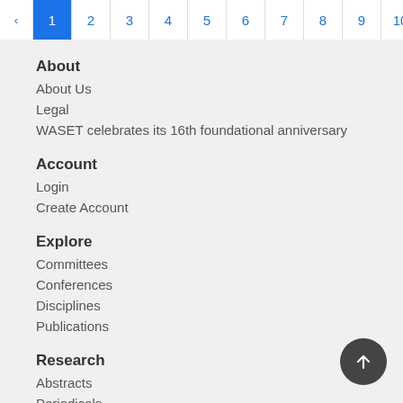‹ 1 2 3 4 5 6 7 8 9 10 ... 2
About
About Us
Legal
WASET celebrates its 16th foundational anniversary
Account
Login
Create Account
Explore
Committees
Conferences
Disciplines
Publications
Research
Abstracts
Periodicals
Archive